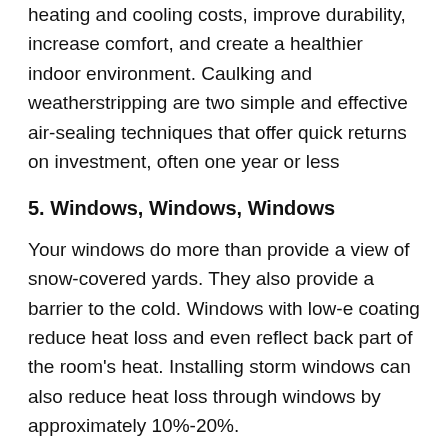heating and cooling costs, improve durability, increase comfort, and create a healthier indoor environment. Caulking and weatherstripping are two simple and effective air-sealing techniques that offer quick returns on investment, often one year or less
5. Windows, Windows, Windows
Your windows do more than provide a view of snow-covered yards. They also provide a barrier to the cold. Windows with low-e coating reduce heat loss and even reflect back part of the room's heat. Installing storm windows can also reduce heat loss through windows by approximately 10%-20%.
While it may seem like the summer days are